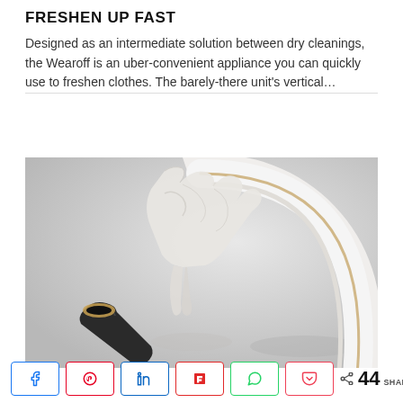FRESHEN UP FAST
Designed as an intermediate solution between dry cleanings, the Wearoff is an uber-convenient appliance you can quickly use to freshen clothes. The barely-there unit's vertical…
[Figure (photo): Product photo of the Wearoff appliance — a white circular ring form with gold trim and a small black base unit, with a white garment appearing to float or billow inside the ring, against a light grey background.]
< 44 SHARES